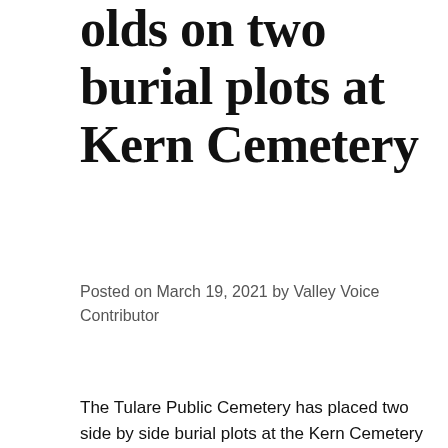…olds on two burial plots at Kern Cemetery
Posted on March 19, 2021 by Valley Voice Contributor
The Tulare Public Cemetery has placed two side by side burial plots at the Kern Cemetery